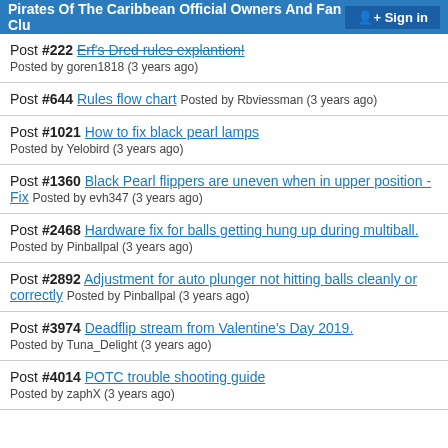Pirates Of The Caribbean Official Owners And Fan Club | Sign in
Post #222 Erf's Dred rules explantion! Posted by goren1818 (3 years ago)
Post #644 Rules flow chart Posted by Rbviessman (3 years ago)
Post #1021 How to fix black pearl lamps Posted by Yelobird (3 years ago)
Post #1360 Black Pearl flippers are uneven when in upper position - Fix Posted by evh347 (3 years ago)
Post #2468 Hardware fix for balls getting hung up during multiball. Posted by Pinballpal (3 years ago)
Post #2892 Adjustment for auto plunger not hitting balls cleanly or correctly Posted by Pinballpal (3 years ago)
Post #3974 Deadflip stream from Valentine's Day 2019. Posted by Tuna_Delight (3 years ago)
Post #4014 POTC trouble shooting guide Posted by zaphX (3 years ago)